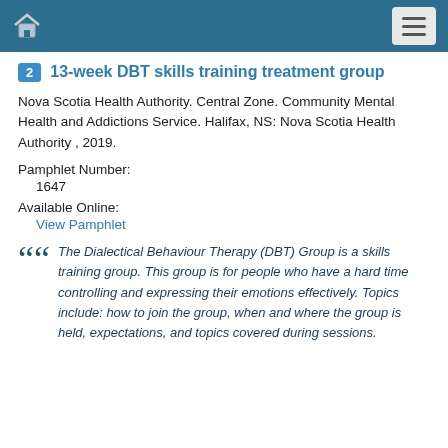13-week DBT skills training treatment group
Nova Scotia Health Authority. Central Zone. Community Mental Health and Addictions Service. Halifax, NS: Nova Scotia Health Authority , 2019.
Pamphlet Number:
1647
Available Online:
View Pamphlet
The Dialectical Behaviour Therapy (DBT) Group is a skills training group. This group is for people who have a hard time controlling and expressing their emotions effectively. Topics include: how to join the group, when and where the group is held, expectations, and topics covered during sessions.